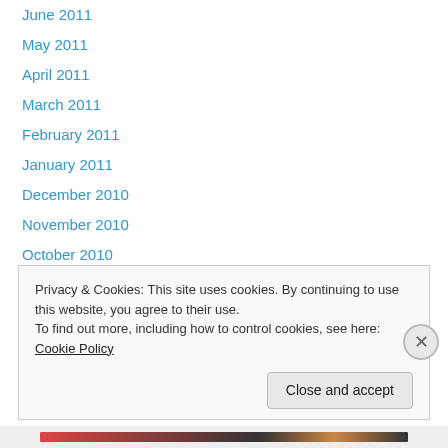June 2011
May 2011
April 2011
March 2011
February 2011
January 2011
December 2010
November 2010
October 2010
Tags
Privacy & Cookies: This site uses cookies. By continuing to use this website, you agree to their use.
To find out more, including how to control cookies, see here: Cookie Policy
Close and accept